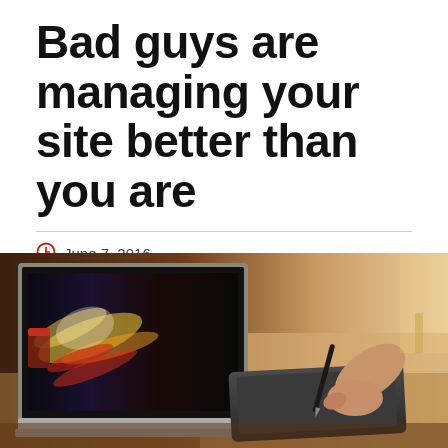Bad guys are managing your site better than you are
June 7, 2016
Posted by: Kerry Tomlinson, Archer News
[Figure (photo): A person using a stylus/pen on a graphics tablet beside a laptop showing colorful imagery on screen, on a desk with warm lighting in the background.]